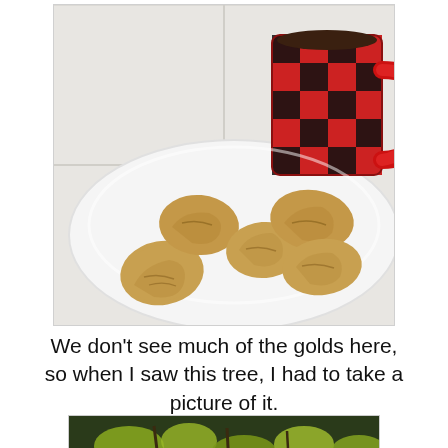[Figure (photo): A white plate with five golden-brown cookies and a red and black plaid/buffalo check coffee mug with dark coffee on a white tile surface.]
We don't see much of the golds here, so when I saw this tree, I had to take a picture of it.
[Figure (photo): Partial view of a plant or tree with yellow-green leaves and dark background, cropped at bottom of page.]